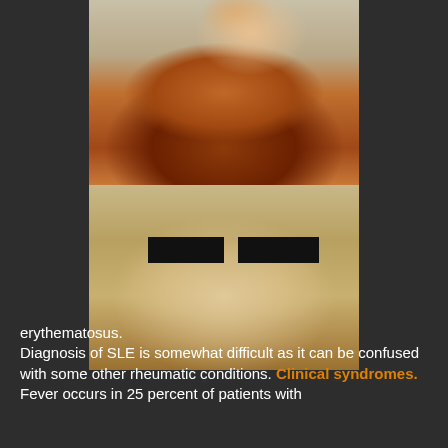[Figure (photo): Two clinical photographs. Top: close-up of a patient's neck and lower face showing erythematous rash/skin lesions characteristic of systemic lupus erythematosus. Bottom: frontal view of a patient's face with butterfly rash across nose and cheeks, with eyes redacted by black rectangles.]
erythematosus.
Diagnosis of SLE is somewhat difficult as it can be confused with some other rheumatic conditions. Clinical syndromes. Fever occurs in 25 percent of patients with